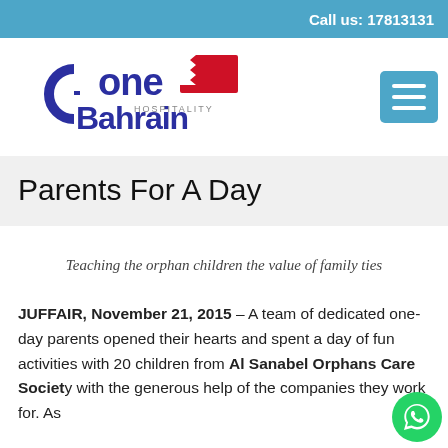Call us: 17813131
[Figure (logo): One Bahrain Hospitality logo with stylized text and Bahrain flag icon]
Parents For A Day
Teaching the orphan children the value of family ties
JUFFAIR, November 21, 2015 – A team of dedicated one-day parents opened their hearts and spent a day of fun activities with 20 children from Al Sanabel Orphans Care Society with the generous help of the companies they work for. As